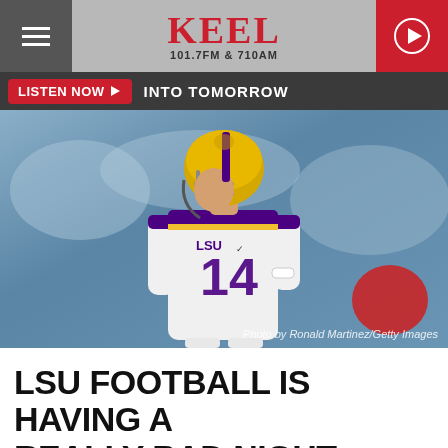KEEL 101.7FM & 710AM
LISTEN NOW ▶  INTO TOMORROW
[Figure (photo): LSU football player wearing jersey number 14 in white and gold uniform with purple lettering, wearing gold helmet, on a stadium field. Photo by Ronald Martinez/Getty Images]
Photo by Ronald Martinez/Getty Images
LSU FOOTBALL IS HAVING A REALLY BAD NIGHT